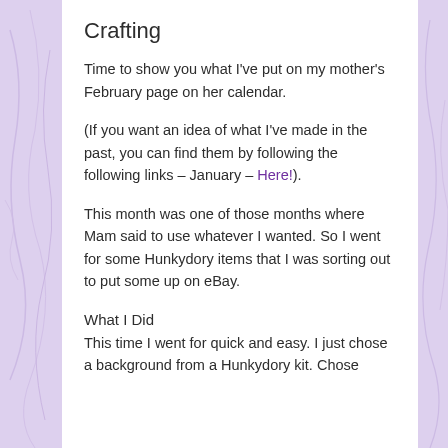Crafting
Time to show you what I've put on my mother's February page on her calendar.
(If you want an idea of what I've made in the past, you can find them by following the following links – January – Here!).
This month was one of those months where Mam said to use whatever I wanted. So I went for some Hunkydory items that I was sorting out to put some up on eBay.
What I Did
This time I went for quick and easy. I just chose a background from a Hunkydory kit. Chose